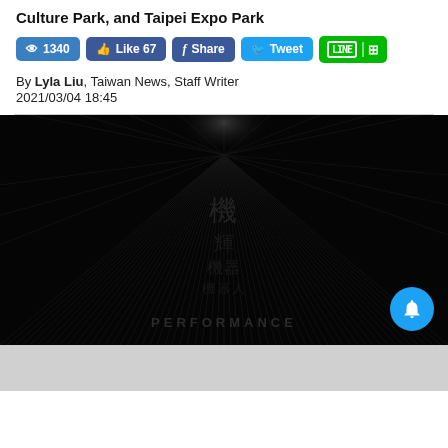Culture Park, and Taipei Expo Park
By Lyla Liu, Taiwan News, Staff Writer
2021/03/04 18:45
[Figure (photo): Dark atmospheric image with radiating lines from center, featuring stylized Chinese characters in dark metallic texture on black background, with text reading 'PERFORMANCE' at the bottom]